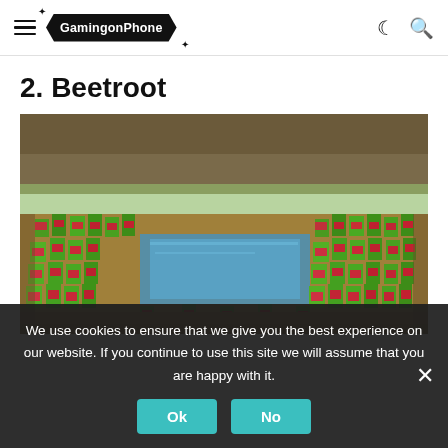GamingonPhone
2. Beetroot
[Figure (photo): Minecraft game screenshot showing a beetroot farm with red and green crop blocks surrounding a water source block, set in a blocky game environment.]
We use cookies to ensure that we give you the best experience on our website. If you continue to use this site we will assume that you are happy with it.